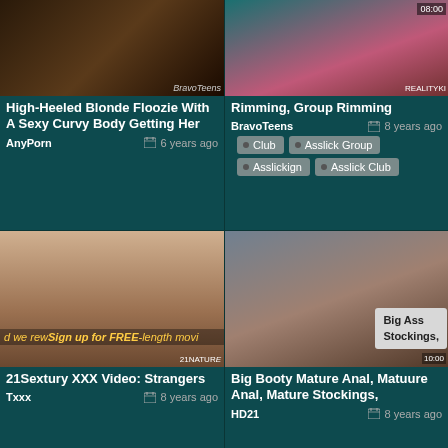[Figure (screenshot): Thumbnail image top-left: adult content video thumbnail with dark tones]
High-Heeled Blonde Floozie With A Sexy Curvy Body Getting Her
AnyPorn   6 years ago
[Figure (screenshot): Thumbnail image top-right: adult content video thumbnail with pink/teal tones, timestamp 08:00, REALITYKI watermark]
Rimming, Group Rimming
BravoTeens   8 years ago
Club
Asslick Group
Asslickign
Asslick Club
[Figure (screenshot): Thumbnail bottom-left: adult content video thumbnail, 21NATURE watermark, Sign up for FREE overlay text]
21Sextury XXX Video: Strangers
Txxx   8 years ago
[Figure (screenshot): Thumbnail bottom-right: adult content video thumbnail with Big Ass tooltip overlay]
Big Booty Mature Anal, Matuure Anal, Mature Stockings,
HD21   8 years ago